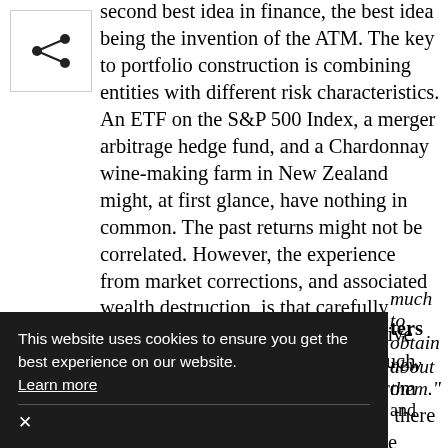[Figure (other): Share icon inside a bordered box]
second best idea in finance, the best idea being the invention of the ATM. The key to portfolio construction is combining entities with different risk characteristics. An ETF on the S&P 500 Index, a merger arbitrage hedge fund, and a Chardonnay wine-making farm in New Zealand might, at first glance, have nothing in common. The past returns might not be correlated. However, the experience from market corrections, and associated wealth destruction, is that carefully constructed portfolios with alternative investments withstand the storm much better than traditional portfolios. From this perspective, when risk matters, there is hardly a reason for the bulk of the whole portfolio not being in what we today call
This website uses cookies to ensure you get the best experience on our website. Learn more
ters
much to obtain new about them."
— Sir William Bragg (1862-1942), British physicist and winner